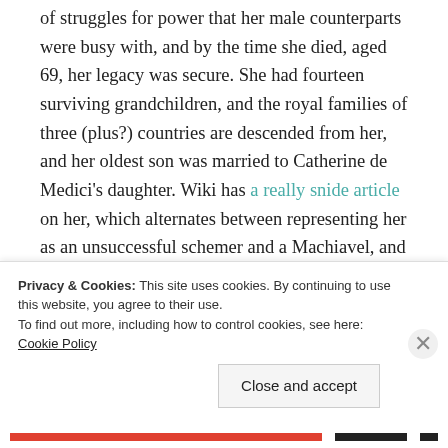of struggles for power that her male counterparts were busy with, and by the time she died, aged 69, her legacy was secure. She had fourteen surviving grandchildren, and the royal families of three (plus?) countries are descended from her, and her oldest son was married to Catherine de Medici's daughter. Wiki has a really snide article on her, which alternates between representing her as an unsuccessful schemer and a Machiavel, and raises my cynical feminist antennae. If we compare her to Henry VIII and
Privacy & Cookies: This site uses cookies. By continuing to use this website, you agree to their use.
To find out more, including how to control cookies, see here: Cookie Policy
Close and accept